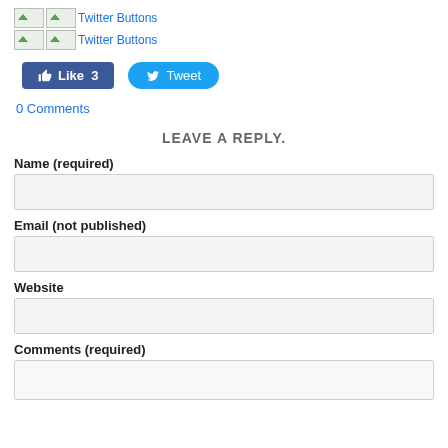[Figure (other): Two broken image placeholders labeled 'Twitter Buttons' on first row]
[Figure (other): Two broken image placeholders labeled 'Twitter Buttons' on second row]
[Figure (other): Facebook Like button showing 'Like 3' and Twitter Tweet button]
0 Comments
LEAVE A REPLY.
Name (required)
Email (not published)
Website
Comments (required)